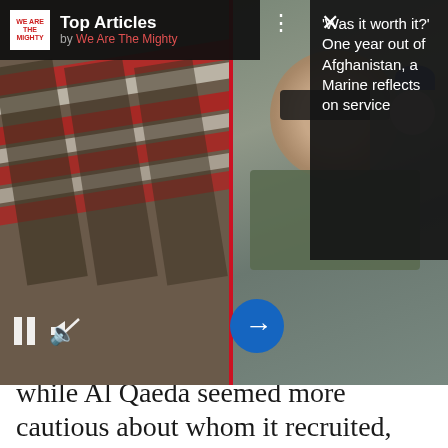[Figure (screenshot): Top Articles widget from 'We Are The Mighty' showing a video with flag-draped coffins on the left and a military selfie on the right, with a 'Was it worth it? One year out of Afghanistan, a Marine reflects on service' article teaser on the dark right panel. Media controls (pause, mute) visible at bottom left, blue arrow button in center.]
while Al Qaeda seemed more cautious about whom it recruited, ISIS is more open. Its members communicate with people online, many of whom have never been to Muslim countries, and also target women, whom they marry to ISIS fighters in Syria and elsewhere.
Here's a look at what the Al Qaeda training manual says about recruiting: